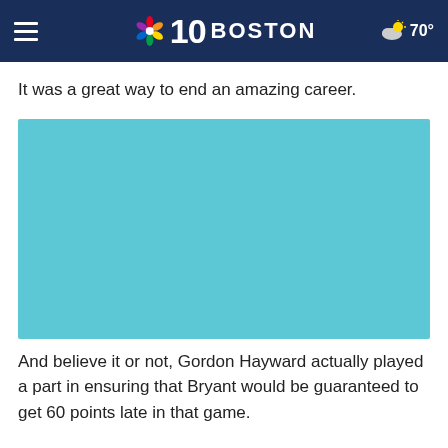NBC 10 BOSTON  70°
It was a great way to end an amazing career.
[Figure (photo): Teal/turquoise colored image placeholder (video or photo not loaded)]
And believe it or not, Gordon Hayward actually played a part in ensuring that Bryant would be guaranteed to get 60 points late in that game.